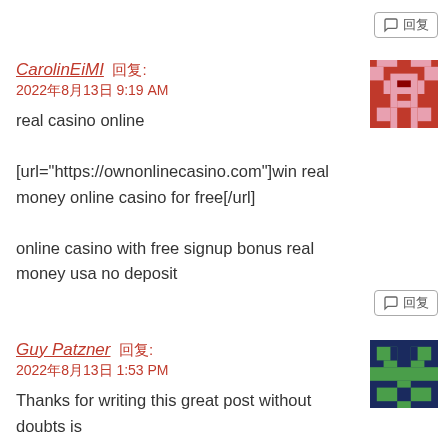CarolinEiMI 回复: 2022年8月13日 9:19 AM
real casino online
[url="https://ownonlinecasino.com"]win real money online casino for free[/url]
online casino with free signup bonus real money usa no deposit
Guy Patzner 回复: 2022年8月13日 1:53 PM
Thanks for writing this great post without doubts is very useful